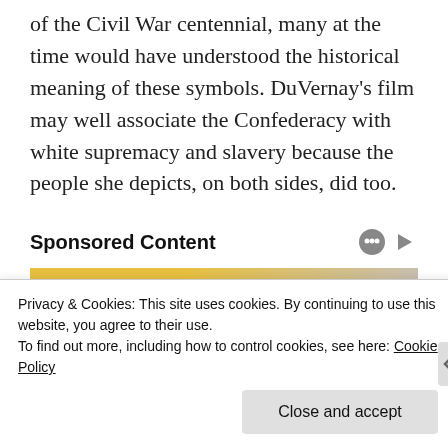of the Civil War centennial, many at the time would have understood the historical meaning of these symbols. DuVernay's film may well associate the Confederacy with white supremacy and slavery because the people she depicts, on both sides, did too.
Sponsored Content
[Figure (photo): Sponsored content image showing a person in front of a yellow background]
Privacy & Cookies: This site uses cookies. By continuing to use this website, you agree to their use.
To find out more, including how to control cookies, see here: Cookie Policy